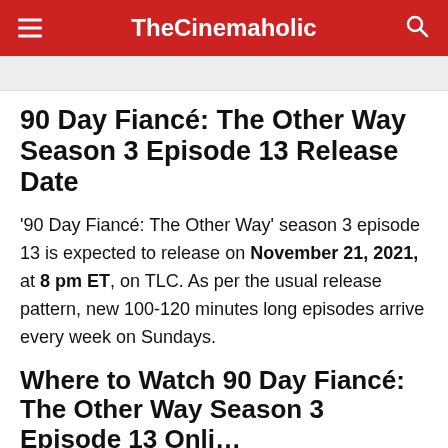TheCinemaholic
90 Day Fiancé: The Other Way Season 3 Episode 13 Release Date
'90 Day Fiancé: The Other Way' season 3 episode 13 is expected to release on November 21, 2021, at 8 pm ET, on TLC. As per the usual release pattern, new 100-120 minutes long episodes arrive every week on Sundays.
Where to Watch 90 Day Fiancé: The Other Way Season 3 Episode 13 Online?